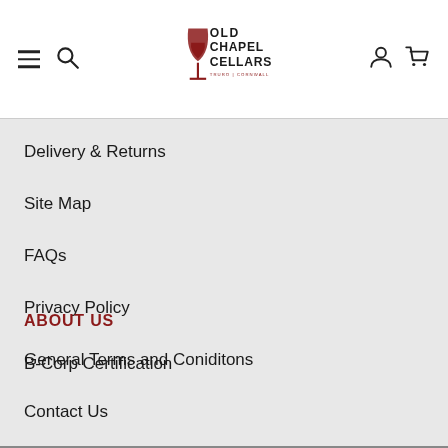Old Chapel Cellars — Truro | Cornwall
Delivery & Returns
Site Map
FAQs
Privacy Policy
General Terms and Coniditons
ABOUT US
B-Corp Certification
Contact Us